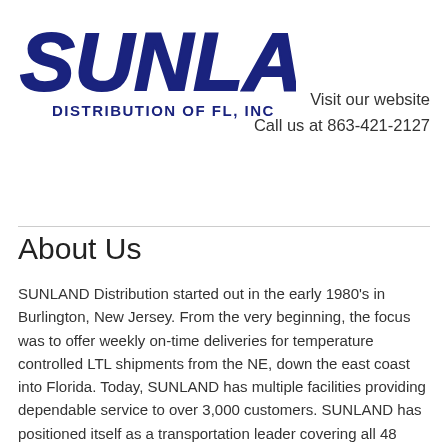[Figure (logo): SUNLAND logo in bold italic dark blue stylized font]
DISTRIBUTION OF FL, INC
Visit our website
Call us at 863-421-2127
About Us
SUNLAND Distribution started out in the early 1980's in Burlington, New Jersey. From the very beginning, the focus was to offer weekly on-time deliveries for temperature controlled LTL shipments from the NE, down the east coast into Florida. Today, SUNLAND has multiple facilities providing dependable service to over 3,000 customers. SUNLAND has positioned itself as a transportation leader covering all 48 continental states.